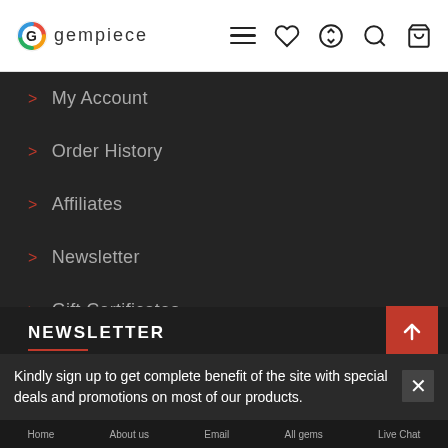gempiece
> My Account
> Order History
> Affiliates
> Newsletter
> Gift Certificates
> Testimonials
NEWSLETTER
Get the latest updates directly in your
≡ FILTER GEMSTONES
Kindly sign up to get complete benefit of the site with special deals and promotions on most of our products.
Home   About us   Email   All gems   Live Chat